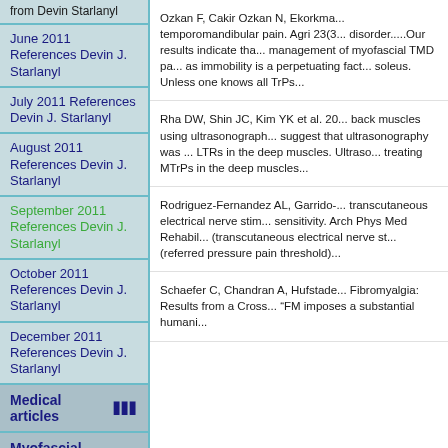from Devin Starlanyl
June 2011 References Devin J. Starlanyl
July 2011 References Devin J. Starlanyl
August 2011 References Devin J. Starlanyl
September 2011 References Devin J. Starlanyl
October 2011 References Devin J. Starlanyl
December 2011 References Devin J. Starlanyl
Medical articles
Myofascial Therapy
Join the NAMTPT
About Us
Ozkan F, Cakir Ozkan N, Ekorkma... temporomandibular pain. Agri 23(3... disorder.....Our results indicate that... management of myofascial TMD p... as immobility is a perpetuating fact... soleus.  Unless one knows all TrPs...
Rha DW, Shin JC, Kim YK et al. 20... back muscles using ultrasonograph... suggest that ultrasonography was ... LTRs in the deep muscles. Ultraso... treating MTrPs in the deep muscles...
Rodriguez-Fernandez AL, Garrido-... transcutaneous electrical nerve stim... sensitivity. Arch Phys Med Rehabil... (transcutaneous electrical nerve st... (referred pressure pain threshold)...
Schaefer C, Chandran A, Hufstade... Fibromyalgia: Results from a Cross... "FM imposes a substantial humani...